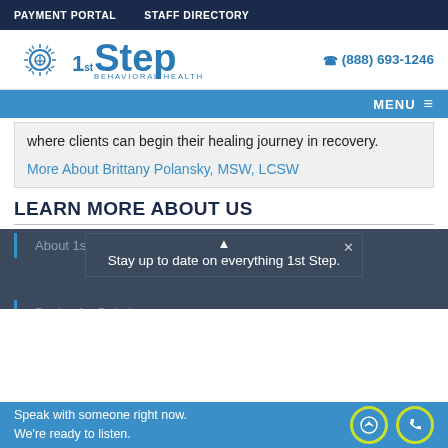PAYMENT PORTAL   STAFF DIRECTORY
[Figure (logo): 1st Step Behavioral Health logo with sun icon and phone number (888) 693-1246]
MENU
where clients can begin their healing journey in recovery.
More About Brittany Polansky, MSW, LCSW
LEARN MORE ABOUT US
About 1st Step
Stay up to date on everything 1st Step.
Paying for Rehab
Speak with someone right now. We're ready to listen.